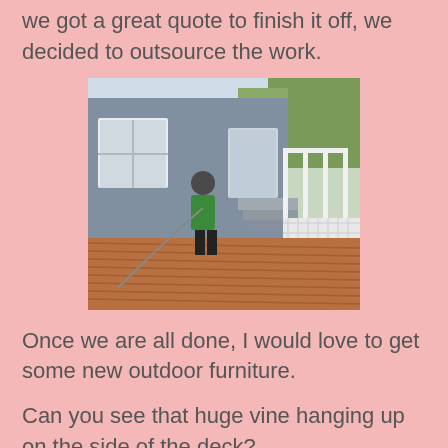we got a great quote to finish it off, we decided to outsource the work.
[Figure (photo): A person in a green shirt power washing a wooden deck next to a gray house with white trim windows and a white lattice railing.]
Once we are all done, I would love to get some new outdoor furniture.
Can you see that huge vine hanging up on the side of the deck?
That is one of my favorite things about the deck...our